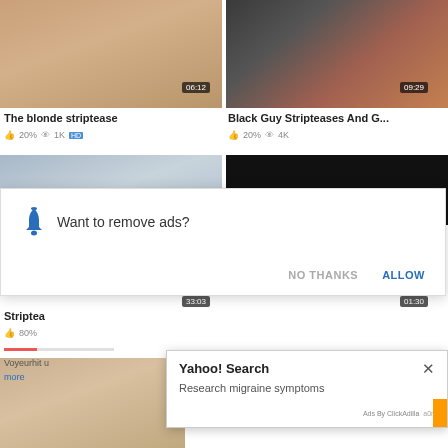[Figure (screenshot): Video thumbnail grid showing adult content website with two rows of video thumbnails, a browser notification popup asking 'Want to remove ads?' with NO THANKS and ALLOW buttons, and a Yahoo Search ad popup for 'Research migraine symptoms']
The blonde striptease
20% 1K HD
Black Guy Stripteases And G...
20% 4K
Want to remove ads?
NO THANKS
ALLOW
33:03
01:30
Striptea
80%
Voyeurhit u
more
Yahoo! Search
Research migraine symptoms
Ads By ClickAdilla  a0n